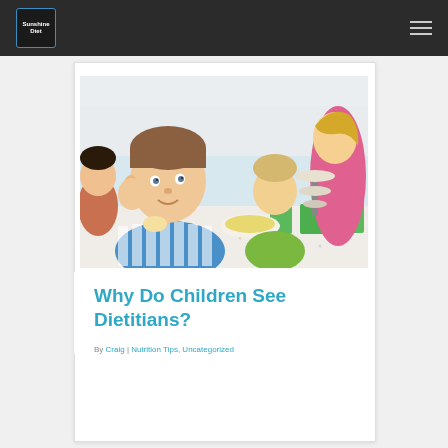Sunshine Diet (logo) | Navigation menu
[Figure (photo): A young boy in a blue and white striped shirt sitting at a table with food and green cups, smiling at the camera. Other children and an adult woman in pink are visible in the background at what appears to be a party or meal setting.]
Why Do Children See Dietitians?
By Craig | Nutrition Tips, Uncategorized